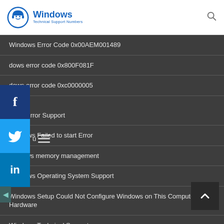[Figure (logo): Windows Technical Support Numbers logo with blue circle face icon and blue text]
Windows Error Code 0x00AEM001489
dows error code 0x800F081F
dows error code 0xc0000005
dows Error Support
Windows Failed to start Error
windows memory management
Windows Operating System Support
Windows Setup Could Not Configure Windows on This Computer's Hardware
Windows Technical Support
Windows Update Errors